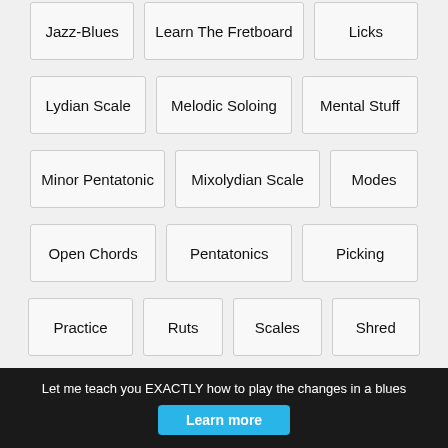Jazz-Blues
Learn The Fretboard
Licks
Lydian Scale
Melodic Soloing
Mental Stuff
Minor Pentatonic
Mixolydian Scale
Modes
Open Chords
Pentatonics
Picking
Practice
Ruts
Scales
Shred
Shred Guitar
Soloing
Soloing Over Changes
Theory
Tips
Let me teach you EXACTLY how to play the changes in a blues
Learn more